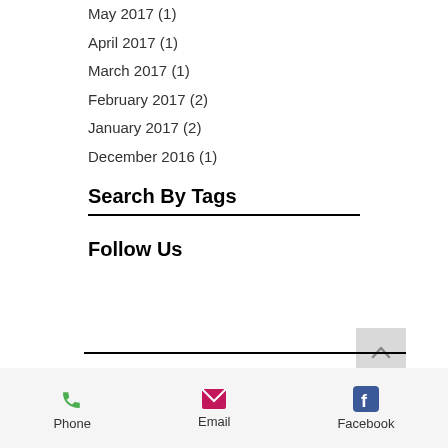May 2017 (1)
April 2017 (1)
March 2017 (1)
February 2017 (2)
January 2017 (2)
December 2016 (1)
Search By Tags
Follow Us
[Figure (infographic): Social media icons: Facebook (blue), Twitter (blue), Google+ (red/orange)]
Phone | Email | Facebook